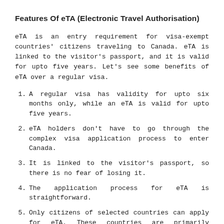Features Of eTA (Electronic Travel Authorisation)
eTA is an entry requirement for visa-exempt countries' citizens traveling to Canada. eTA is linked to the visitor's passport, and it is valid for upto five years. Let's see some benefits of eTA over a regular visa.
A regular visa has validity for upto six months only, while an eTA is valid for upto five years.
eTA holders don't have to go through the complex visa application process to enter Canada.
It is linked to the visitor's passport, so there is no fear of losing it.
The application process for eTA is straightforward.
Only citizens of selected countries can apply for eTA. These countries are primarily European.
You need to pay 7 Canadian dollars to get an eTA.